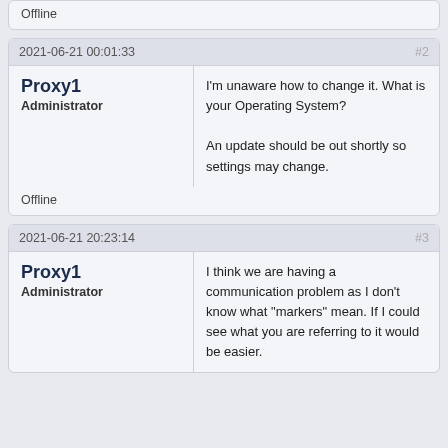Offline
2021-06-21 00:01:33  #2
Proxy1
Administrator
I'm unaware how to change it. What is your Operating System?

An update should be out shortly so settings may change.
Offline
2021-06-21 20:23:14  #3
Proxy1
Administrator
I think we are having a communication problem as I don't know what "markers" mean. If I could see what you are referring to it would be easier.